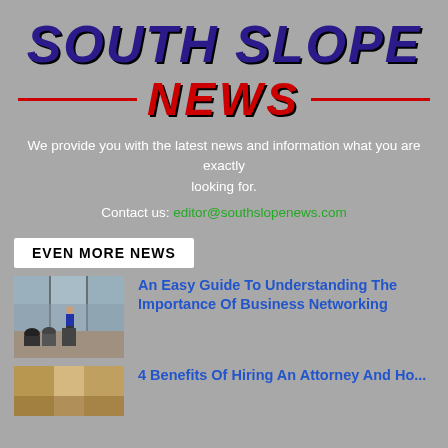SOUTH SLOPE NEWS
We provide you with the latest news and information what you are exactly looking for.
Contact us: editor@southslopenews.com
EVEN MORE NEWS
[Figure (photo): Photo of a business networking meeting or conference room with people seated and a presenter at a podium, large windows in background]
An Easy Guide To Understanding The Importance Of Business Networking
[Figure (photo): Partial thumbnail photo, bottom of page, cut off]
4 Benefits Of Hiring An Attorney And Ho...